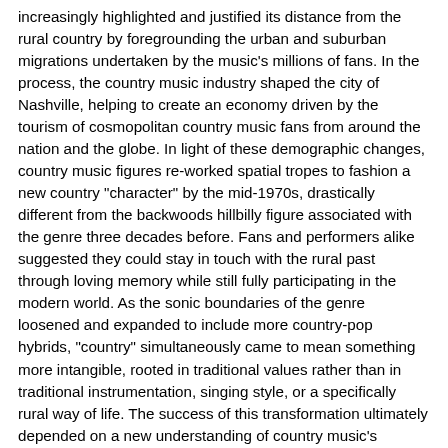increasingly highlighted and justified its distance from the rural country by foregrounding the urban and suburban migrations undertaken by the music's millions of fans. In the process, the country music industry shaped the city of Nashville, helping to create an economy driven by the tourism of cosmopolitan country music fans from around the nation and the globe. In light of these demographic changes, country music figures re-worked spatial tropes to fashion a new country "character" by the mid-1970s, drastically different from the backwoods hillbilly figure associated with the genre three decades before. Fans and performers alike suggested they could stay in touch with the rural past through loving memory while still fully participating in the modern world. As the sonic boundaries of the genre loosened and expanded to include more country-pop hybrids, "country" simultaneously came to mean something more intangible, rooted in traditional values rather than in traditional instrumentation, singing style, or a specifically rural way of life. The success of this transformation ultimately depended on a new understanding of country music's populist language. The industry still aligned with the traditional notion of country as "the music of the people" but subtly shifted the definition of "the people." When